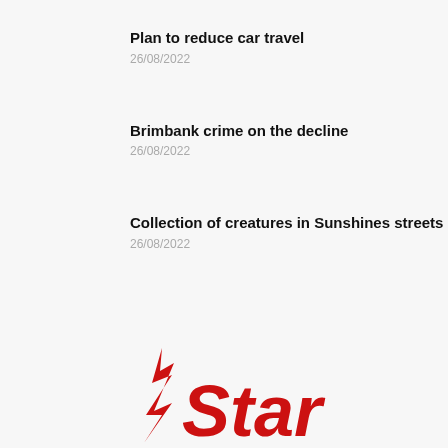Plan to reduce car travel
26/08/2022
Brimbank crime on the decline
26/08/2022
Collection of creatures in Sunshines streets
26/08/2022
[Figure (logo): Star Weekly newspaper logo with red star and red bold text 'Star']